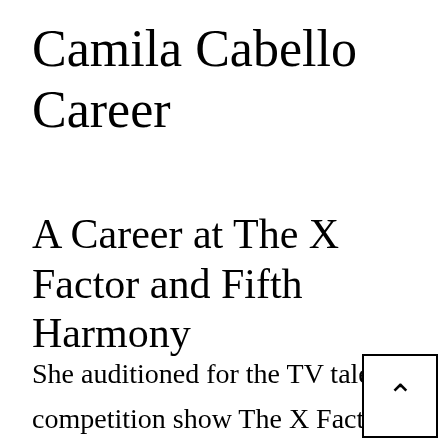Camila Cabello Career
A Career at The X Factor and Fifth Harmony
She auditioned for the TV talent competition show The X Factor in Greensboro, North Carolina with Ar Franklin’s “Respect”. Camila together